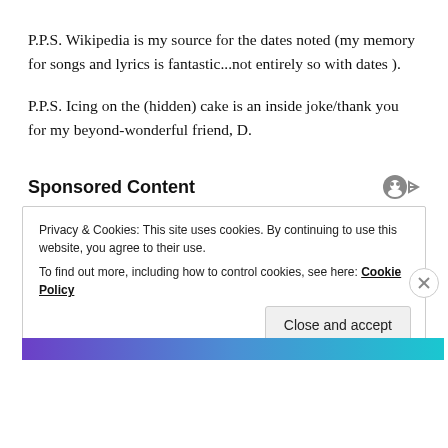P.P.S. Wikipedia is my source for the dates noted (my memory for songs and lyrics is fantastic...not entirely so with dates ).
P.P.S. Icing on the (hidden) cake is an inside joke/thank you for my beyond-wonderful friend, D.
Sponsored Content
Privacy & Cookies: This site uses cookies. By continuing to use this website, you agree to their use. To find out more, including how to control cookies, see here: Cookie Policy
Close and accept